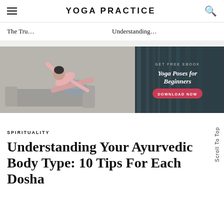YOGA PRACTICE
The Tru...
Understanding...
[Figure (photo): Banner advertisement showing a woman in a yoga side plank pose wearing pink activewear, with text 'GET FREE EBOOK Yoga Poses for Beginners DOWNLOAD NOW' on a dark teal background]
SPIRITUALITY
Understanding Your Ayurvedic Body Type: 10 Tips For Each Dosha